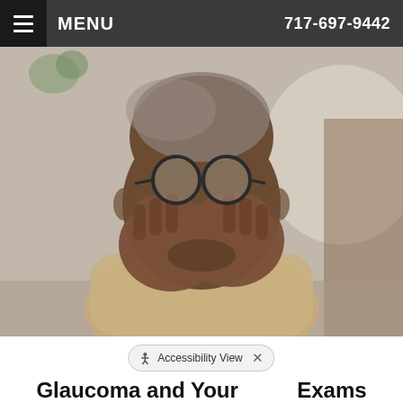MENU   717-697-9442
[Figure (photo): An older Black man with short white hair rubbing his eyes with both hands, wearing round glasses pushed up on his forehead, dressed in a beige/khaki shirt. Blurred background suggests an indoor/living room setting.]
Accessibility View  ×
Glaucoma and Your Eye Exams